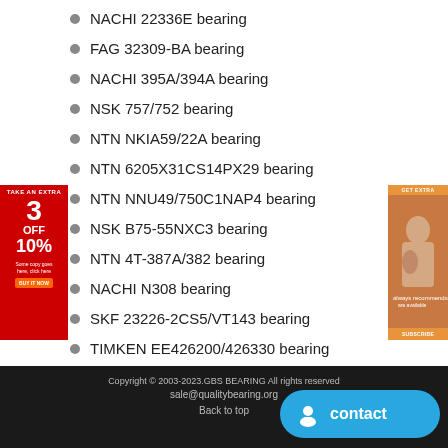NACHI 22336E bearing
FAG 32309-BA bearing
NACHI 395A/394A bearing
NSK 757/752 bearing
NTN NKIA59/22A bearing
NTN 6205X31CS14PX29 bearing
NTN NNU49/750C1NAP4 bearing
NSK B75-55NXC3 bearing
NTN 4T-387A/382 bearing
NACHI N308 bearing
SKF 23226-2CS5/VT143 bearing
TIMKEN EE426200/426330 bearing
SKF 6308-2Z/VA208 bearing
TIMKEN 86669/86100 bearing
SKF 615722 bearing
SKF 62312-2RS1 bearing
SKF NUP305ECML bearing
Copyright © 2003-2023.GBS BEARING All rights reserved sale@qualitybearing.org Back to top